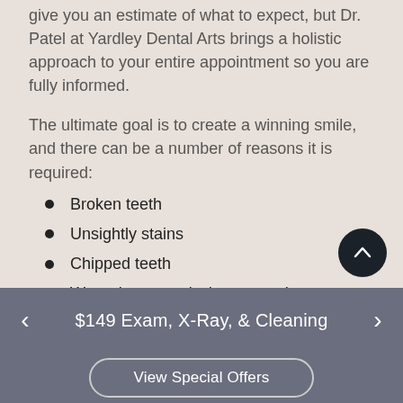give you an estimate of what to expect, but Dr. Patel at Yardley Dental Arts brings a holistic approach to your entire appointment so you are fully informed.
The ultimate goal is to create a winning smile, and there can be a number of reasons it is required:
Broken teeth
Unsightly stains
Chipped teeth
Worn down or misshapen teeth
Fill gaps
$149 Exam, X-Ray, & Cleaning
View Special Offers